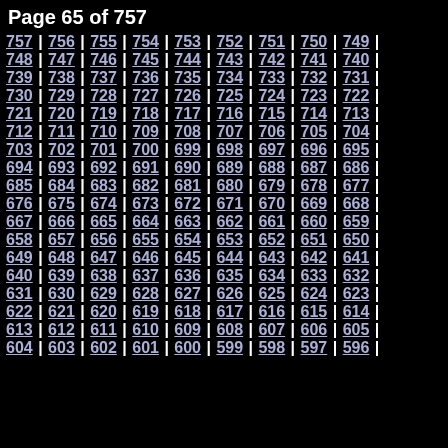Page 65 of 757
757 | 756 | 755 | 754 | 753 | 752 | 751 | 750 | 749 | 748 | 747 | 746 | 745 | 744 | 743 | 742 | 741 | 740 | 739 | 738 | 737 | 736 | 735 | 734 | 733 | 732 | 731 | 730 | 729 | 728 | 727 | 726 | 725 | 724 | 723 | 722 | 721 | 720 | 719 | 718 | 717 | 716 | 715 | 714 | 713 | 712 | 711 | 710 | 709 | 708 | 707 | 706 | 705 | 704 | 703 | 702 | 701 | 700 | 699 | 698 | 697 | 696 | 695 | 694 | 693 | 692 | 691 | 690 | 689 | 688 | 687 | 686 | 685 | 684 | 683 | 682 | 681 | 680 | 679 | 678 | 677 | 676 | 675 | 674 | 673 | 672 | 671 | 670 | 669 | 668 | 667 | 666 | 665 | 664 | 663 | 662 | 661 | 660 | 659 | 658 | 657 | 656 | 655 | 654 | 653 | 652 | 651 | 650 | 649 | 648 | 647 | 646 | 645 | 644 | 643 | 642 | 641 | 640 | 639 | 638 | 637 | 636 | 635 | 634 | 633 | 632 | 631 | 630 | 629 | 628 | 627 | 626 | 625 | 624 | 623 | 622 | 621 | 620 | 619 | 618 | 617 | 616 | 615 | 614 | 613 | 612 | 611 | 610 | 609 | 608 | 607 | 606 | 605 | 604 | 603 | 602 | 601 | 600 | 599 | 598 | 597 | 596